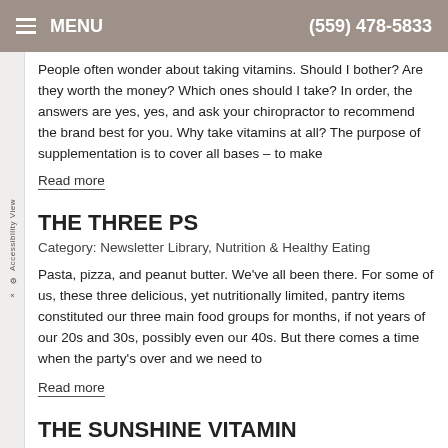MENU | (559) 478-5833
People often wonder about taking vitamins. Should I bother? Are they worth the money? Which ones should I take? In order, the answers are yes, yes, and ask your chiropractor to recommend the brand best for you. Why take vitamins at all? The purpose of supplementation is to cover all bases – to make
Read more
THE THREE PS
Category: Newsletter Library, Nutrition & Healthy Eating
Pasta, pizza, and peanut butter. We've all been there. For some of us, these three delicious, yet nutritionally limited, pantry items constituted our three main food groups for months, if not years of our 20s and 30s, possibly even our 40s. But there comes a time when the party's over and we need to
Read more
THE SUNSHINE VITAMIN